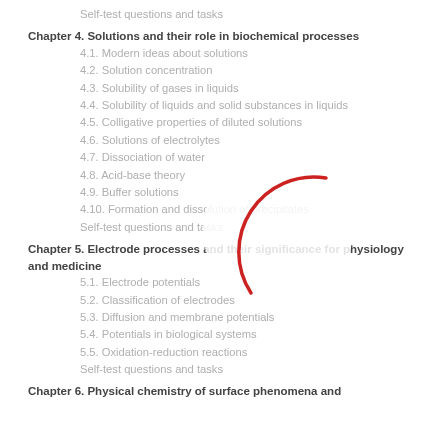Self-test questions and tasks
Chapter 4. Solutions and their role in biochemical processes
4.1. Modern ideas about solutions
4.2. Solution concentration
4.3. Solubility of gases in liquids
4.4. Solubility of liquids and solid substances in liquids
4.5. Colligative properties of diluted solutions
4.6. Solutions of electrolytes
4.7. Dissociation of water
4.8. Acid-base theory
4.9. Buffer solutions
4.10. Formation and dissolution of precipitates
Self-test questions and tasks
Chapter 5. Electrode processes and their significance for physiology and medicine
5.1. Electrode potentials
5.2. Classification of electrodes
5.3. Diffusion and membrane potentials
5.4. Potentials in biological systems
5.5. Oxidation-reduction reactions
Self-test questions and tasks
Chapter 6. Physical chemistry of surface phenomena and